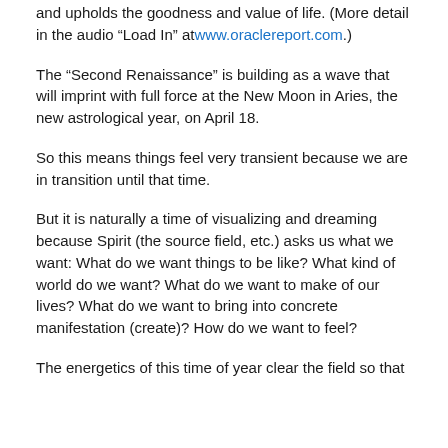and upholds the goodness and value of life. (More detail in the audio “Load In” at www.oraclereport.com.)
The “Second Renaissance” is building as a wave that will imprint with full force at the New Moon in Aries, the new astrological year, on April 18.
So this means things feel very transient because we are in transition until that time.
But it is naturally a time of visualizing and dreaming because Spirit (the source field, etc.) asks us what we want: What do we want things to be like? What kind of world do we want? What do we want to make of our lives? What do we want to bring into concrete manifestation (create)? How do we want to feel?
The energetics of this time of year clear the field so that